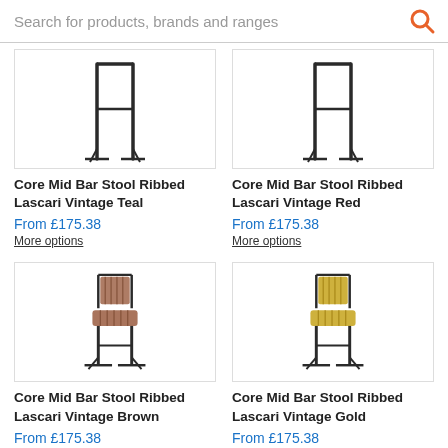Search for products, brands and ranges
[Figure (photo): Core Mid Bar Stool Ribbed Lascari Vintage Teal - product image showing metal frame bar stool]
Core Mid Bar Stool Ribbed Lascari Vintage Teal
From £175.38
More options
[Figure (photo): Core Mid Bar Stool Ribbed Lascari Vintage Red - product image showing metal frame bar stool]
Core Mid Bar Stool Ribbed Lascari Vintage Red
From £175.38
More options
[Figure (photo): Core Mid Bar Stool Ribbed Lascari Vintage Brown - product image showing metal frame bar stool with brown ribbed seat]
Core Mid Bar Stool Ribbed Lascari Vintage Brown
From £175.38
More options
[Figure (photo): Core Mid Bar Stool Ribbed Lascari Vintage Gold - product image showing metal frame bar stool with gold ribbed seat]
Core Mid Bar Stool Ribbed Lascari Vintage Gold
From £175.38
More options